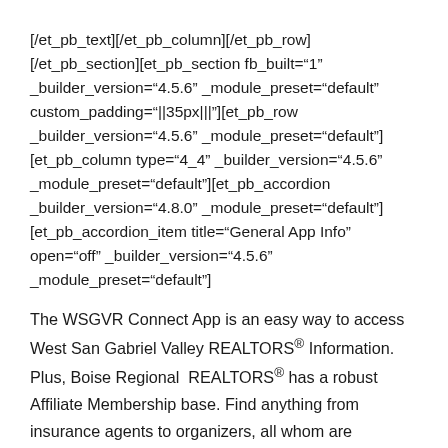[/et_pb_text][/et_pb_column][/et_pb_row][/et_pb_section][et_pb_section fb_built="1" _builder_version="4.5.6" _module_preset="default" custom_padding="||35px|||"][et_pb_row _builder_version="4.5.6" _module_preset="default"][et_pb_column type="4_4" _builder_version="4.5.6" _module_preset="default"][et_pb_accordion _builder_version="4.8.0" _module_preset="default"][et_pb_accordion_item title="General App Info" open="off" _builder_version="4.5.6" _module_preset="default"]
The WSGVR Connect App is an easy way to access West San Gabriel Valley REALTORS® Information. Plus, Boise Regional REALTORS® has a robust Affiliate Membership base. Find anything from insurance agents to organizers, all whom are